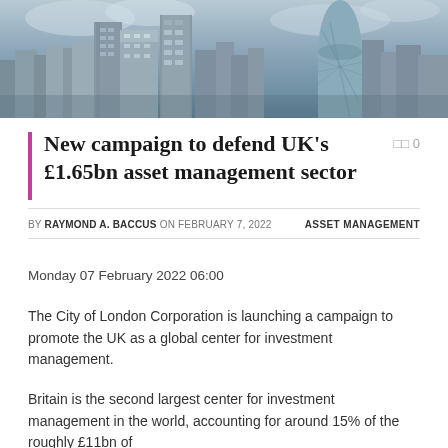[Figure (photo): Aerial/ground-level photograph of the London city skyline showing tall skyscrapers including distinctive buildings like the Gherkin, against a cloudy sky]
New campaign to defend UK's £1.65bn asset management sector
BY RAYMOND A. BACCUS ON FEBRUARY 7, 2022   ASSET MANAGEMENT
Monday 07 February 2022 06:00
The City of London Corporation is launching a campaign to promote the UK as a global center for investment management.
Britain is the second largest center for investment management in the world, accounting for around 15% of the roughly £11bn of